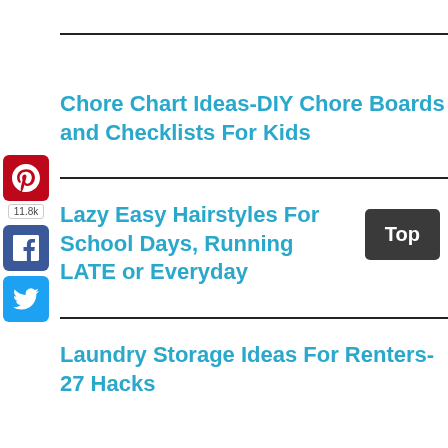Chore Chart Ideas-DIY Chore Boards and Checklists For Kids
[Figure (infographic): Pinterest share button (red) with 11.8k count, Facebook share button (blue), Twitter share button (light blue) — social media sidebar]
Lazy Easy Hairstyles For School Days, Running LATE or Everyday
Laundry Storage Ideas For Renters-27 Hacks